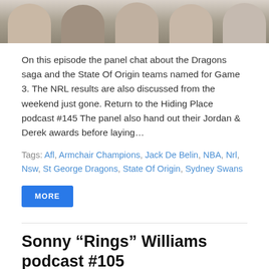[Figure (photo): Group photo of people smiling, cropped to show faces at the top of the page]
On this episode the panel chat about the Dragons saga and the State Of Origin teams named for Game 3. The NRL results are also discussed from the weekend just gone. Return to the Hiding Place podcast #145 The panel also hand out their Jordan & Derek awards before laying...
Tags: Afl, Armchair Champions, Jack De Belin, NBA, Nrl, Nsw, St George Dragons, State Of Origin, Sydney Swans
MORE
Sonny “Rings” Williams podcast #105
Posted by admin...